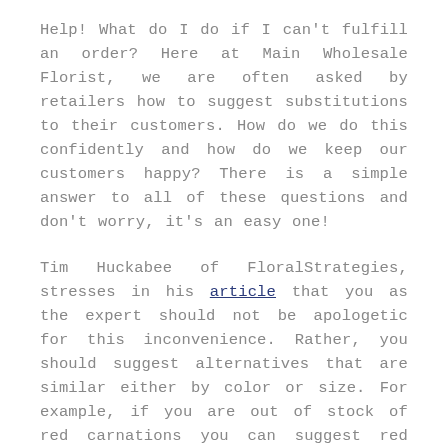Help! What do I do if I can't fulfill an order? Here at Main Wholesale Florist, we are often asked by retailers how to suggest substitutions to their customers. How do we do this confidently and how do we keep our customers happy? There is a simple answer to all of these questions and don't worry, it's an easy one!
Tim Huckabee of FloralStrategies, stresses in his article that you as the expert should not be apologetic for this inconvenience. Rather, you should suggest alternatives that are similar either by color or size. For example, if you are out of stock of red carnations you can suggest red roses to your customers. Be aware of the similarities between the original and the suggested substitution as the customer